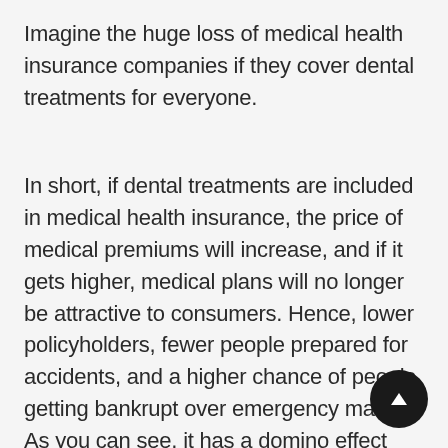Imagine the huge loss of medical health insurance companies if they cover dental treatments for everyone.
In short, if dental treatments are included in medical health insurance, the price of medical premiums will increase, and if it gets higher, medical plans will no longer be attractive to consumers. Hence, lower policyholders, fewer people prepared for accidents, and a higher chance of people getting bankrupt over emergency matters. As you can see, it has a domino effect that can even potentially affect the economy.